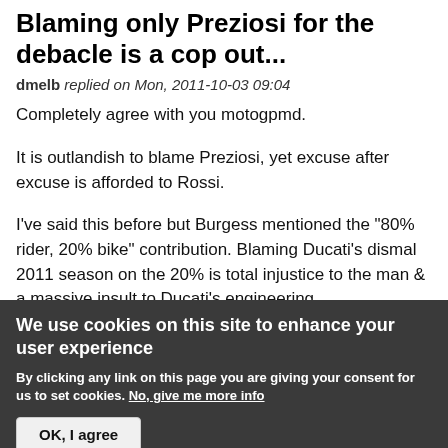Blaming only Preziosi for the debacle is a cop out...
dmelb replied on Mon, 2011-10-03 09:04
Completely agree with you motogpmd.
It is outlandish to blame Preziosi, yet excuse after excuse is afforded to Rossi.
I've said this before but Burgess mentioned the "80% rider, 20% bike" contribution. Blaming Ducati's dismal 2011 season on the 20% is total injustice to the man & a massive insult to Ducati's engineering department.
We use cookies on this site to enhance your user experience
By clicking any link on this page you are giving your consent for us to set cookies. No, give me more info
OK, I agree